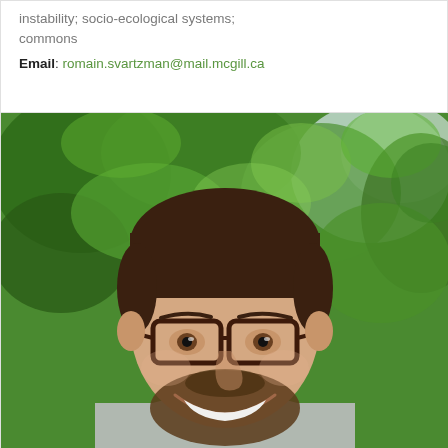instability; socio-ecological systems; commons
Email: romain.svartzman@mail.mcgill.ca
[Figure (photo): Headshot photograph of a young man with short brown hair, beard, and dark-rimmed rectangular glasses, smiling broadly. He is outdoors in front of green trees with bright sky visible in the background.]